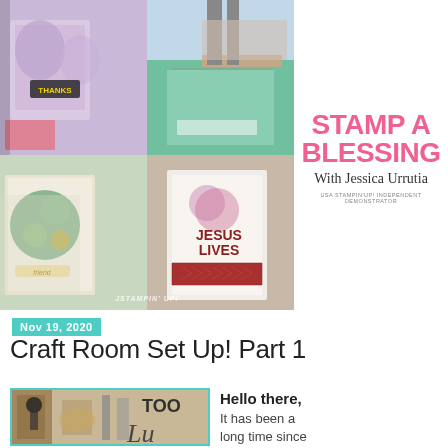[Figure (photo): Blog header collage of four craft photos: purple thank you card (top-left), craft desk setup (top-right), green tree friend cards (bottom-left), Jesus Lives stamped card (bottom-right)]
[Figure (logo): Stamp A Blessing brand logo with script 'With Jessica Urrutia' and subtitle 'USA Stampin Up Independent Demonstrator' on white panel]
Nov 19, 2020
Craft Room Set Up! Part 1
[Figure (photo): Partial view of craft room with wooden wall decor showing 'TOO' and cursive 'Lu' text, various wall hangings and a hat]
Hello there, It has been a long time since